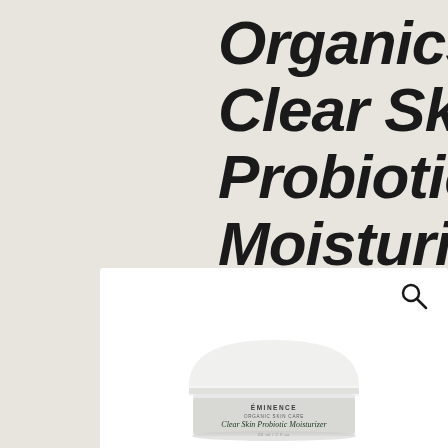Organics Clear Skin Probiotic Moisturizer
[Figure (photo): Product photo of Eminence Organics Clear Skin Probiotic Moisturizer jar, white cream jar with gray label, displayed on white background panel with magnifying glass icon]